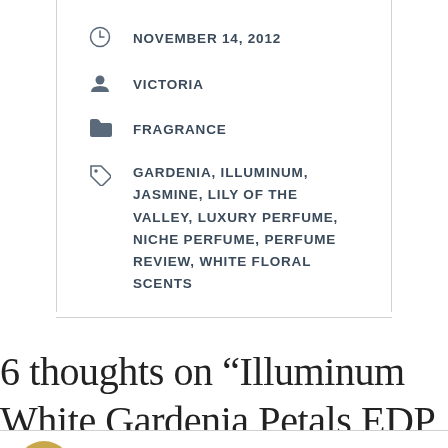NOVEMBER 14, 2012
VICTORIA
FRAGRANCE
GARDENIA, ILLUMINUM, JASMINE, LILY OF THE VALLEY, LUXURY PERFUME, NICHE PERFUME, PERFUME REVIEW, WHITE FLORAL SCENTS
6 thoughts on “Illuminum White Gardenia Petals EDP Perfume Review”